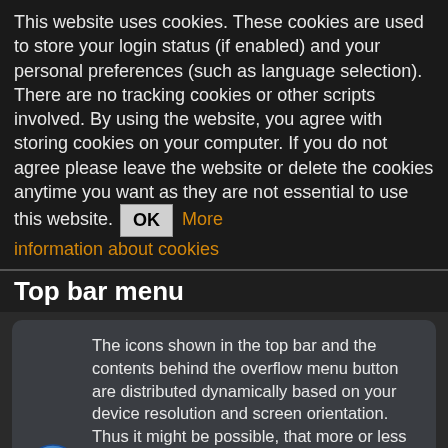This website uses cookies. These cookies are used to store your login status (if enabled) and your personal preferences (such as language selection). There are no tracking cookies or other scripts involved. By using the website, you agree with storing cookies on your computer. If you do not agree please leave the website or delete the cookies anytime you want as they are not essential to use this website. OK More information about cookies
Top bar menu
The icons shown in the top bar and the contents behind the overflow menu button are distributed dynamically based on your device resolution and screen orientation. Thus it might be possible, that more or less items can be found behind the menu button or instead shown as icons in the top bar on your device. In case a menu entry is shown as an icon you can long press the icon to get a popup